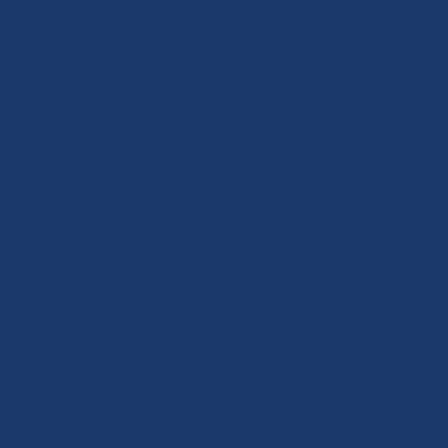eistuff (he would regard this as his right — as the ruler) a